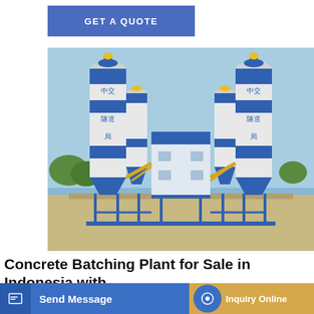GET A QUOTE
[Figure (photo): A large concrete batching plant facility with tall blue-and-white silos labeled in Chinese characters (中交隧道局), a central blue building with windows, yellow conveyor structures, blue steel framework, on a concrete ground with trees in the background.]
Concrete Batching Plant for Sale in Indonesia with
Concrete batching plant for sale is a kind of equipment specially used to produce concrete and cement mixture … and requirement, you can choose the different type concrete
Send Message
Inquiry Online